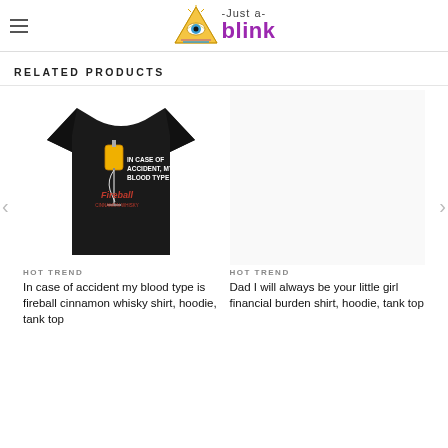Just a- blink (logo with illuminati triangle eye icon)
RELATED PRODUCTS
[Figure (photo): Black t-shirt with text 'IN CASE OF ACCIDENT, MY BLOOD TYPE IS FIREBALL' and an IV drip graphic on the shirt]
HOT TREND
In case of accident my blood type is fireball cinnamon whisky shirt, hoodie, tank top
[Figure (photo): Empty/blank product image placeholder for second product]
HOT TREND
Dad I will always be your little girl financial burden shirt, hoodie, tank top